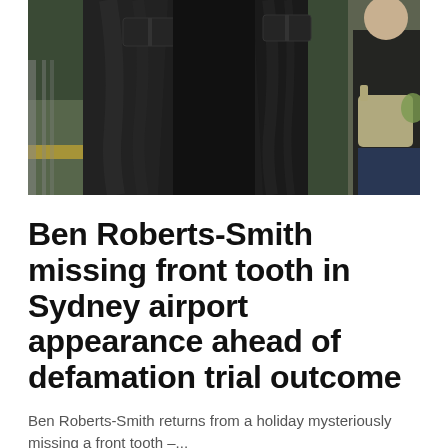[Figure (photo): A person in a dark leather jacket photographed from chest level at what appears to be an airport or outdoor area. A woman carrying a bag is visible in the background to the right.]
Ben Roberts-Smith missing front tooth in Sydney airport appearance ahead of defamation trial outcome
Ben Roberts-Smith returns from a holiday mysteriously missing a front tooth –...
Internewscast · May 19, 2022